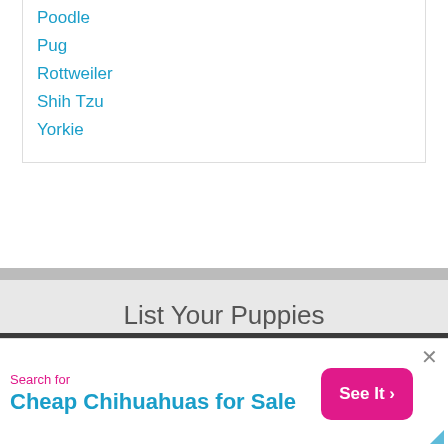Poodle
Pug
Rottweiler
Shih Tzu
Yorkie
List Your Puppies
Place a Free Ad
COMPANY LINKS
Advertising Plans
About Us
Privacy Policy
Terms of Use
Search for
Cheap Chihuahuas for Sale
See It >